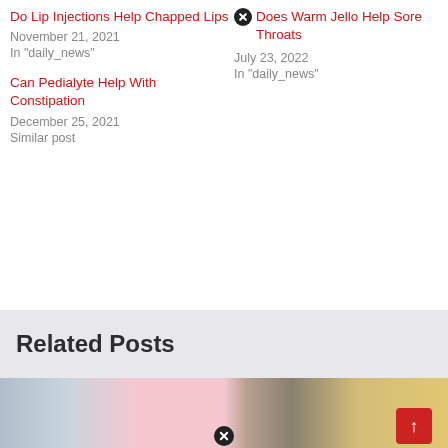Do Lip Injections Help Chapped Lips
November 21, 2021
In "daily_news"
Does Warm Jello Help Sore Throats
July 23, 2022
In "daily_news"
Can Pedialyte Help With Constipation
December 25, 2021
Similar post
Related Posts
[Figure (photo): Close-up photo of popsicles with lemon slices and ice in the background]